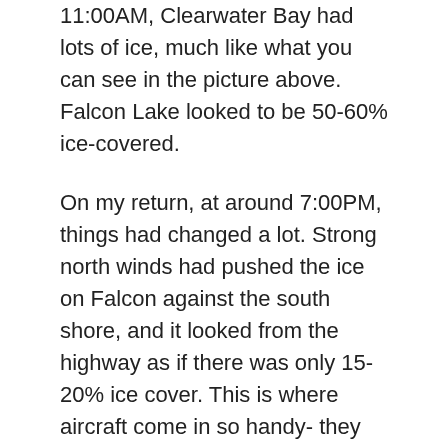11:00AM, Clearwater Bay had lots of ice, much like what you can see in the picture above. Falcon Lake looked to be 50-60% ice-covered.
On my return, at around 7:00PM, things had changed a lot. Strong north winds had pushed the ice on Falcon against the south shore, and it looked from the highway as if there was only 15-20% ice cover. This is where aircraft come in so handy- they give a better overall perspective. But although it's hard to judge accurately from just driving by, I think there was big change in eight hours.
Ice also retreated visibly from Clearwater Landing. I'd guess it had been pushed back almost to McCallum Point, but remember, I was driving by in my nice warm car, not freezing my face off in a boat for a proper look.